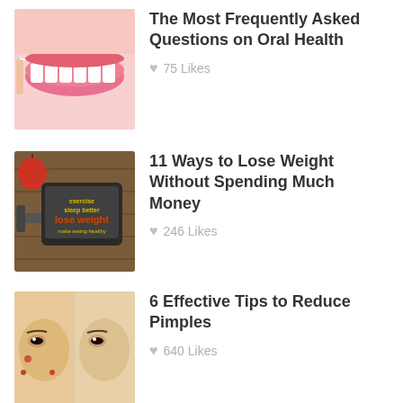[Figure (photo): Close-up of person flossing teeth, showing white teeth and pink lips]
The Most Frequently Asked Questions on Oral Health
♥ 75 Likes
[Figure (photo): Tablet with 'lose weight' text, dumbbells and apple on wooden background]
11 Ways to Lose Weight Without Spending Much Money
♥ 246 Likes
[Figure (photo): Two face portraits showing pimples/acne before and after]
6 Effective Tips to Reduce Pimples
♥ 640 Likes
Looking for Diet Health tips?